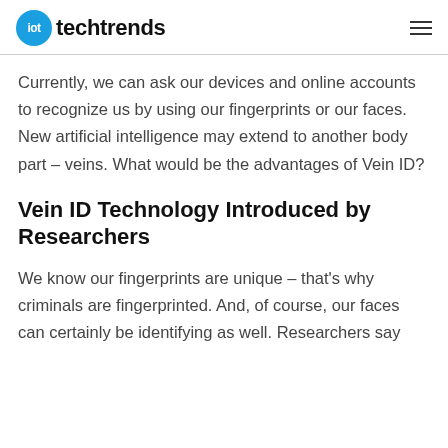iot techtrends
Currently, we can ask our devices and online accounts to recognize us by using our fingerprints or our faces. New artificial intelligence may extend to another body part – veins. What would be the advantages of Vein ID?
Vein ID Technology Introduced by Researchers
We know our fingerprints are unique – that's why criminals are fingerprinted. And, of course, our faces can certainly be identifying as well. Researchers say